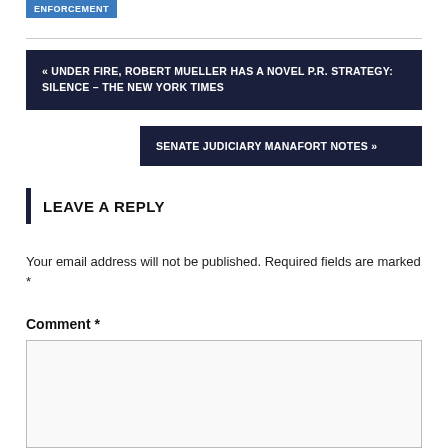ENFORCEMENT
« UNDER FIRE, ROBERT MUELLER HAS A NOVEL P.R. STRATEGY: SILENCE – THE NEW YORK TIMES
SENATE JUDICIARY MANAFORT NOTES »
LEAVE A REPLY
Your email address will not be published. Required fields are marked *
Comment *